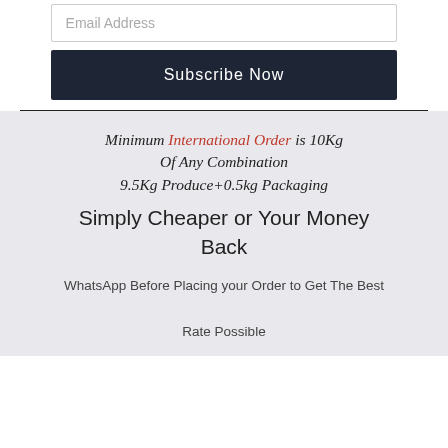Email Address
Subscribe Now
Minimum International Order is 10Kg Of Any Combination 9.5Kg Produce+0.5kg Packaging
Simply Cheaper or Your Money Back
WhatsApp Before Placing your Order to Get The Best Rate Possible